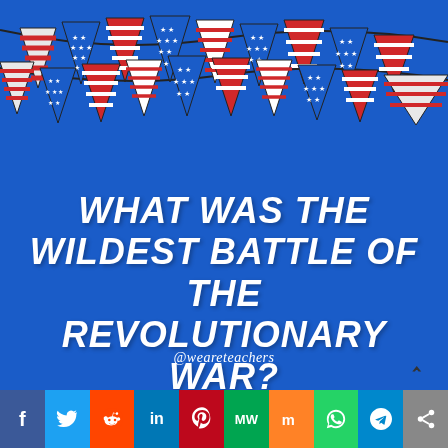[Figure (illustration): Blue card with red-white patriotic bunting flags (alternating stripes and stars patterns) hanging in two rows across the top, with a question about the wildest battle of the Revolutionary War, and the handle @weareteachers at the bottom.]
What was the wildest battle of the Revolutionary War?
@weareteachers
[Figure (infographic): Social media sharing bar with icons for Facebook, Twitter, Reddit, LinkedIn, Pinterest, MeWe, Mix, WhatsApp, Telegram, and Share.]